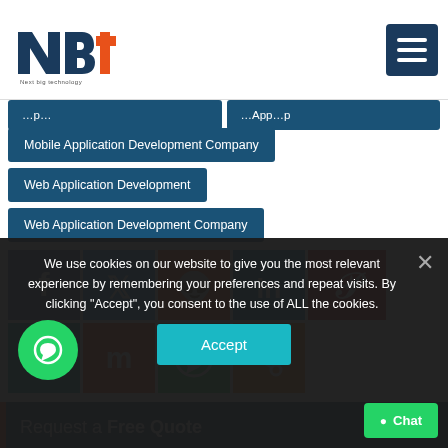[Figure (logo): NBT (Next Big Technology) logo — orange and dark navy lettering]
Mobile Application Development Company
Web Application Development
Web Application Development Company
[Figure (infographic): Social media sharing buttons: Facebook, Twitter, Reddit, LinkedIn, Pinterest, MeWe, Mix, WhatsApp, Share]
Request a Free Quote
We use cookies on our website to give you the most relevant experience by remembering your preferences and repeat visits. By clicking "Accept", you consent to the use of ALL the cookies.